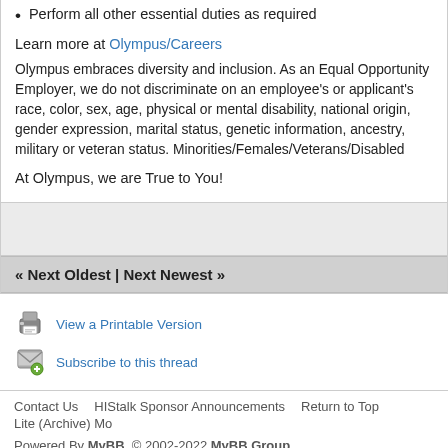Perform all other essential duties as required
Learn more at Olympus/Careers
Olympus embraces diversity and inclusion. As an Equal Opportunity Employer, we do not discriminate on an employee's or applicant's race, color, sex, age, physical or mental disability, national origin, gender expression, marital status, genetic information, ancestry, military or veteran status. Minorities/Females/Veterans/Disabled
At Olympus, we are True to You!
« Next Oldest | Next Newest »
View a Printable Version
Subscribe to this thread
Contact Us   HIStalk Sponsor Announcements   Return to Top   Lite (Archive) Mo...
Powered By MyBB, © 2002-2022 MyBB Group.